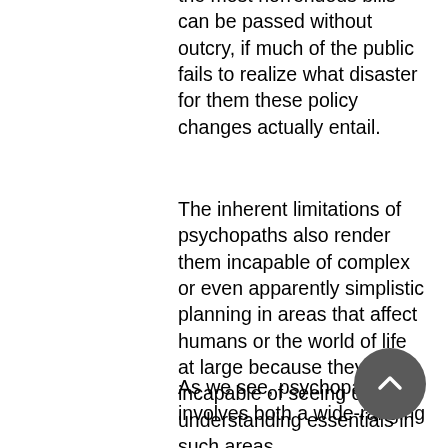the most horrendous bills can be passed without outcry, if much of the public fails to realize what disaster for them these policy changes actually entail.
The inherent limitations of psychopaths also render them incapable of complex or even apparently simplistic planning in areas that affect humans or the world of life at large because they are incapable of seeing or understanding essentials in such areas.
As we see, psychopathy involves both a wide-ranging limitation in their emotional